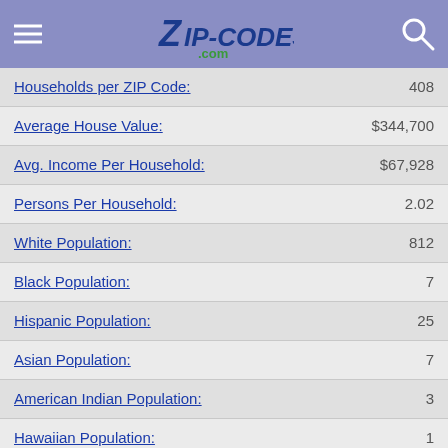ZIP-CODES.com
| Label | Value |
| --- | --- |
| Households per ZIP Code: | 408 |
| Average House Value: | $344,700 |
| Avg. Income Per Household: | $67,928 |
| Persons Per Household: | 2.02 |
| White Population: | 812 |
| Black Population: | 7 |
| Hispanic Population: | 25 |
| Asian Population: | 7 |
| American Indian Population: | 3 |
| Hawaiian Population: | 1 |
| Other Population: | 11 |
| Male Population: | 403 |